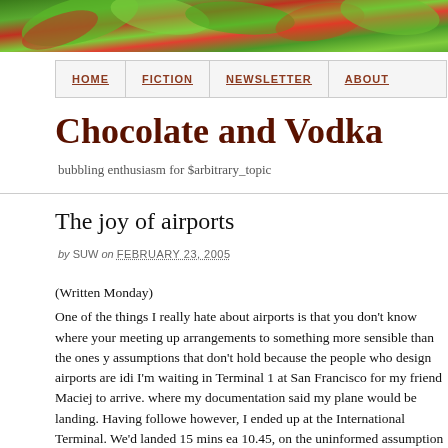[Figure (illustration): Colorful decorative header image with green, red and plant-like motifs]
HOME  FICTION  NEWSLETTER  ABOUT
Chocolate and Vodka
bubbling enthusiasm for $arbitrary_topic
The joy of airports
by SUW on FEBRUARY 23, 2005
(Written Monday)
One of the things I really hate about airports is that you don't know where your meeting up arrangements to something more sensible than the ones you assumptions that don't hold because the people who design airports are idi I'm waiting in Terminal 1 at San Francisco for my friend Maciej to arrive. where my documentation said my plane would be landing. Having followe however, I ended up at the International Terminal. We'd landed 15 mins ea 10.45, on the uninformed assumption that it would take me an hour or so